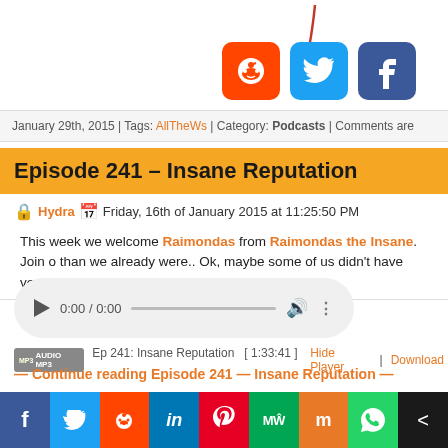[Figure (screenshot): Social sharing icons (Reddit, Twitter, Facebook) with red arrow pointing to them, top section of webpage]
January 29th, 2015 | Tags: AllTheWs | Category: Podcasts | Comments are
Episode 241 – Insane Reputation
Hydra  Friday, 16th of January 2015 at 11:25:50 PM
This week we welcome Raimondas from Raimondas the Insane. Join o... than we already were.. Ok, maybe some of us didn't have very far to go.
[Figure (screenshot): Audio player with play button, 0:00 / 0:00 time, progress bar, volume and menu icons]
Ep 241: Insane Reputation  [ 1:33:41 ]  Hide Player | Download
— Continue reading Episode 241 — Insane Reputation —
Sharing is sexy!
[Figure (screenshot): Bottom social media sharing bar with Facebook, Twitter, Reddit, LinkedIn, Pinterest, MeWe, Mix, WhatsApp, and share icons]